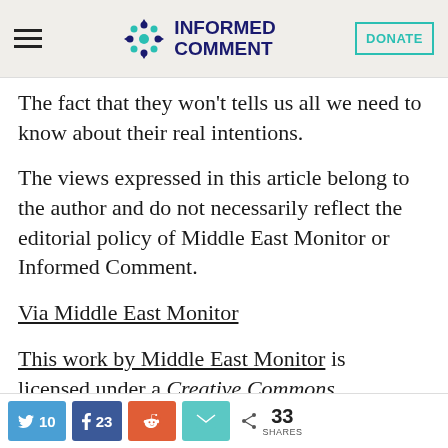INFORMED COMMENT | DONATE
The fact that they won’t tells us all we need to know about their real intentions.
The views expressed in this article belong to the author and do not necessarily reflect the editorial policy of Middle East Monitor or Informed Comment.
Via Middle East Monitor
This work by Middle East Monitor is licensed under a Creative Commons Attribution
10  23  33 SHARES